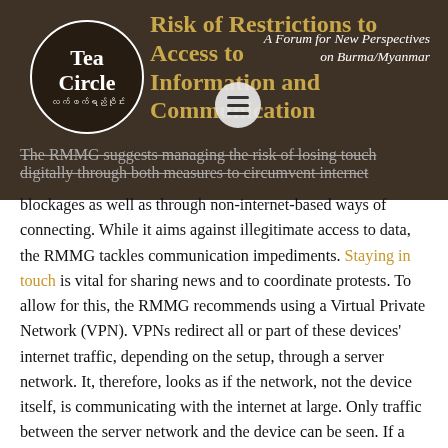[Figure (illustration): Tea Circle logo and header image with dark background showing text 'Risk of Restrictions to Access to Information and Communication' and 'A Forum for New Perspectives on Burma/Myanmar' with a circular logo and hamburger menu icon]
digitally through both measures to circumvent internet blockages as well as through non-internet-based ways of connecting. While it aims against illegitimate access to data, the RMMG tackles communication impediments. Staying in touch is vital for sharing news and to coordinate protests. To allow for this, the RMMG recommends using a Virtual Private Network (VPN). VPNs redirect all or part of these devices' internet traffic, depending on the setup, through a server network. It, therefore, looks as if the network, not the device itself, is communicating with the internet at large. Only traffic between the server network and the device can be seen. If a VPN server is not affected by website blocking, these websites can be accessed through the VPN. Some VPN